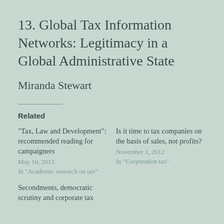13. Global Tax Information Networks: Legitimacy in a Global Administrative State
Miranda Stewart
Related
"Tax, Law and Development": recommended reading for campaigners
May 16, 2013
In "Academic research on tax"
Is it time to tax companies on the basis of sales, not profits?
November 1, 2012
In "Corporation tax"
Secondments, democratic scrutiny and corporate tax